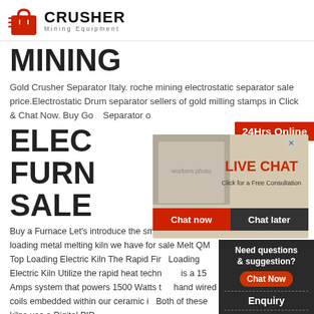[Figure (logo): Crusher Mining Equipment logo with red shopping bag icon and bold CRUSHER text]
MINING
Gold Crusher Separator Italy. roche mining electrostatic separator sale price.Electrostatic Drum separator sellers of gold milling stamps in Click & Chat Now. Buy Gold Separator o…
ELEC FURN SALE
[Figure (photo): Live chat popup overlay showing workers in hard hats and a female customer service agent with headset. Contains LIVE CHAT header, Click for a Free Consultation text, Chat now and Chat later buttons.]
Buy a Furnace Let's introduce the small top load front loading metal melting kiln we have for sale Melt QM Top Loading Electric Kiln The Rapid Fire Loading Electric Kiln Utilize the rapid heat technique is a 15 Amps system that powers 1500 Watts the hand wired coils embedded within our ceramic in Both of these kilns use a Digital PID ...
[Figure (infographic): Sidebar: Need questions & suggestion? Chat Now button, Enquiry section, limingjlmofen@sina.com email contact]